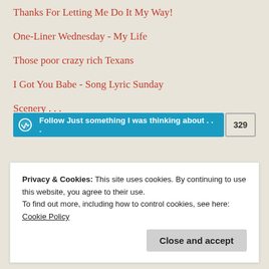Thanks For Letting Me Do It My Way!
One-Liner Wednesday - My Life
Those poor crazy rich Texans
I Got You Babe - Song Lyric Sunday
Scenery . . .
Follow Just something I was thinking about . . . 329
Archives
Privacy & Cookies: This site uses cookies. By continuing to use this website, you agree to their use. To find out more, including how to control cookies, see here: Cookie Policy
Close and accept